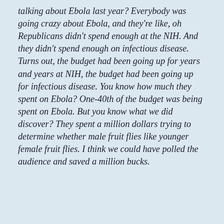talking about Ebola last year? Everybody was going crazy about Ebola, and they're like, oh Republicans didn't spend enough at the NIH. And they didn't spend enough on infectious disease. Turns out, the budget had been going up for years and years at NIH, the budget had been going up for infectious disease. You know how much they spent on Ebola? One-40th of the budget was being spent on Ebola. But you know what we did discover? They spent a million dollars trying to determine whether male fruit flies like younger female fruit flies. I think we could have polled the audience and saved a million bucks.